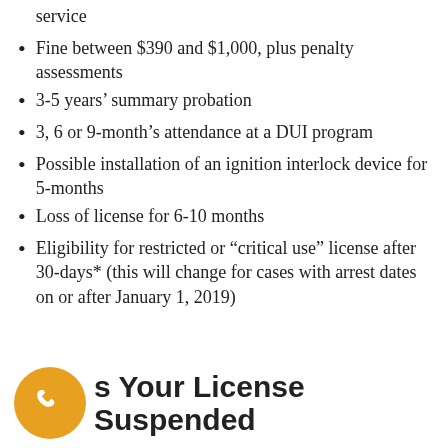service
Fine between $390 and $1,000, plus penalty assessments
3-5 years’ summary probation
3, 6 or 9-month’s attendance at a DUI program
Possible installation of an ignition interlock device for 5-months
Loss of license for 6-10 months
Eligibility for restricted or “critical use” license after 30-days* (this will change for cases with arrest dates on or after January 1, 2019)
Is Your License Suspended